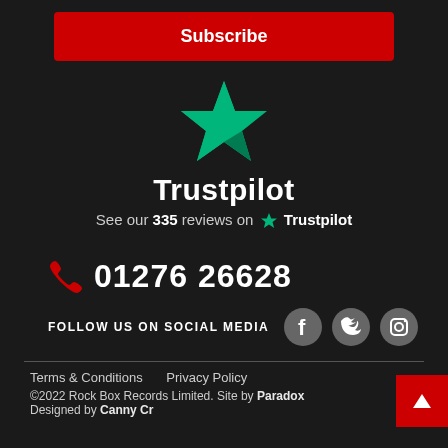Subscribe
[Figure (logo): Trustpilot green star logo]
Trustpilot
See our 335 reviews on ★ Trustpilot
📞 01276 26628
FOLLOW US ON SOCIAL MEDIA
Terms & Conditions   Privacy Policy
©2022 Rock Box Records Limited. Site by Paradox  Designed by Canny Cr